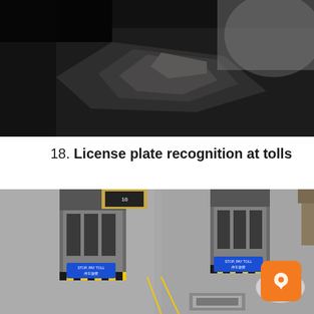[Figure (photo): Close-up photo of a person wearing a dark uniform/suit with a reflective or patterned fabric detail, taken from an overhead angle. Dark background.]
18. License plate recognition at tolls
[Figure (photo): Aerial/overhead view of a toll plaza with multiple toll booths. Blue signs reading 'STOP, PAY TOLL' in English and Chinese are visible. Yellow and black striped barriers are present. A silver car is visible on the right side passing through a lane.]